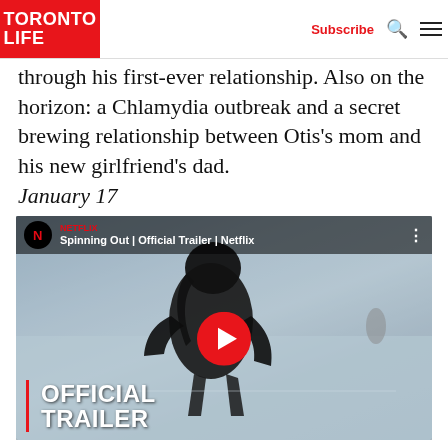TORONTO LIFE | Subscribe
through his first-ever relationship. Also on the horizon: a Chlamydia outbreak and a secret brewing relationship between Otis's mom and his new girlfriend's dad. January 17
[Figure (screenshot): YouTube video thumbnail for 'Spinning Out | Official Trailer | Netflix' showing a figure skater on an ice rink with Netflix branding, a play button overlay, and 'OFFICIAL TRAILER' text in the lower left.]